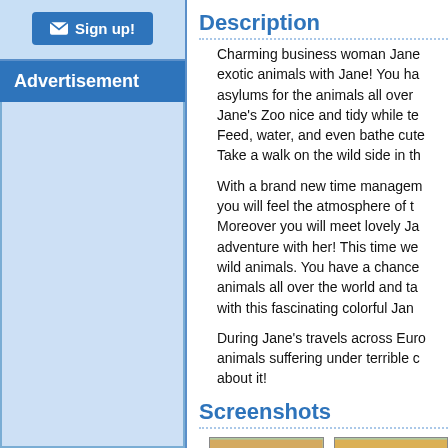[Figure (other): Sign up button with envelope icon]
Advertisement
[Figure (other): Advertisement area (light blue box)]
Description
Charming business woman Jane exotic animals with Jane! You ha asylums for the animals all over Jane's Zoo nice and tidy while te Feed, water, and even bathe cute Take a walk on the wild side in th
With a brand new time managem you will feel the atmosphere of t Moreover you will meet lovely Ja adventure with her! This time we wild animals. You have a chance animals all over the world and ta with this fascinating colorful Jan
During Jane's travels across Euro animals suffering under terrible c about it!
Screenshots
[Figure (screenshot): Game screenshot 1 - colorful cartoon animals scene]
[Figure (screenshot): Game screenshot 2 - colorful cartoon animals scene]